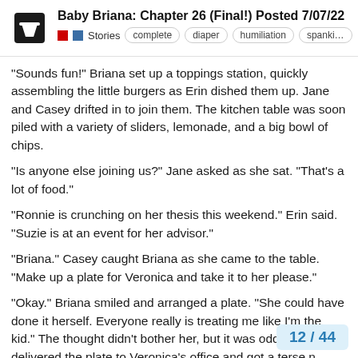Baby Briana: Chapter 26 (Final!) Posted 7/07/22
“Sounds fun!” Briana set up a toppings station, quickly assembling the little burgers as Erin dished them up. Jane and Casey drifted in to join them. The kitchen table was soon piled with a variety of sliders, lemonade, and a big bowl of chips.
“Is anyone else joining us?” Jane asked as she sat. “That’s a lot of food.”
“Ronnie is crunching on her thesis this weekend.” Erin said. “Suzie is at an event for her advisor.”
“Briana.” Casey caught Briana as she came to the table. “Make up a plate for Veronica and take it to her please.”
“Okay.” Briana smiled and arranged a plate. “She could have done it herself. Everyone really is treating me like I’m the kid.” The thought didn’t bother her, but it was odd. She delivered the plate to Veronica’s office and got a terse n response. Erin hadn’t been kidding, Veroni
12 / 44